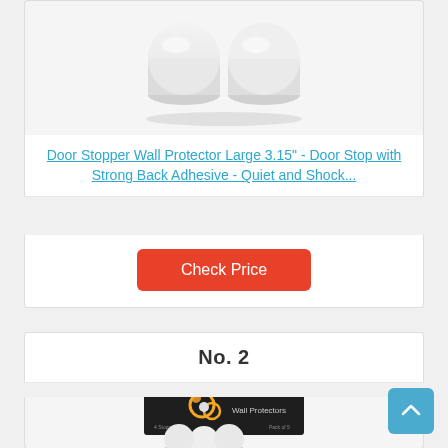[Figure (photo): White cylindrical door stopper wall protectors on light grey background]
Door Stopper Wall Protector Large 3.15" - Door Stop with Strong Back Adhesive - Quiet and Shock...
Check Price
No. 2
[Figure (photo): Wall protectors product packaging - dark box with yellow/gold circular logo, white cylindrical door stoppers below]